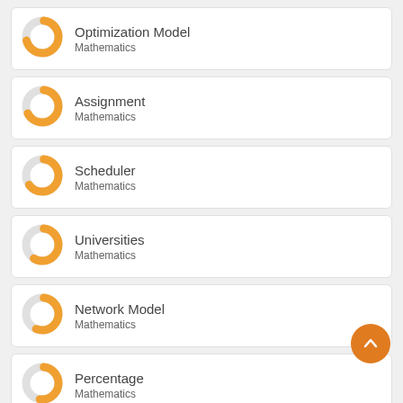Optimization Model
Mathematics
Assignment
Mathematics
Scheduler
Mathematics
Universities
Mathematics
Network Model
Mathematics
Percentage
Mathematics
Scheduling Problem
Mathematics